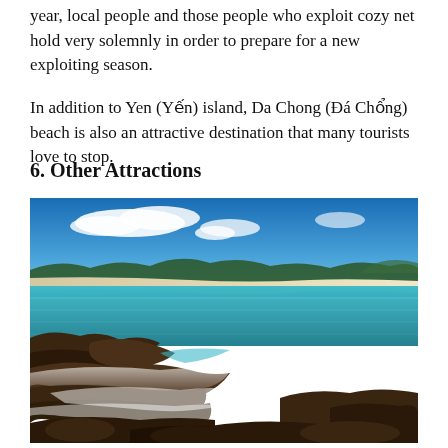year, local people and those people who exploit cozy net hold very solemnly in order to prepare for a new exploiting season.
In addition to Yen (Yến) island, Da Chong (Đá Chổng) beach is also an attractive destination that many tourists love to stop.
6. Other Attractions
[Figure (photo): A scenic coastal beach photograph showing rocky foreground with misty waves, turquoise-blue calm water in the middle, a long white sandy beach stretching in the background, green forested hills and mountains on the horizon, and a blue sky with scattered white clouds.]